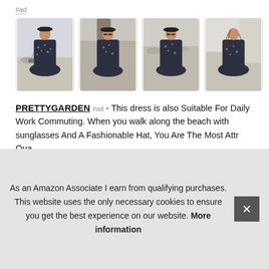#ad
[Figure (photo): Four product photos of a woman wearing a dark floral midi dress with short sleeves and a black hat, shown from different angles]
PRETTYGARDEN #ad - This dress is also Suitable For Daily Work Commuting. When you walk along the beach with sunglasses And A Fashionable Hat, You Are The Most Attractive...Quality...Through...And
As an Amazon Associate I earn from qualifying purchases. This website uses the only necessary cookies to ensure you get the best experience on our website. More information